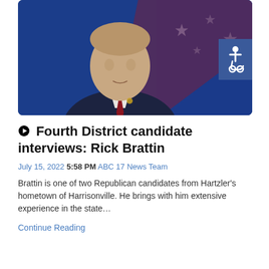[Figure (photo): A man in a dark suit with a red tie and lapel pin, photographed from the chest up against a blue background with stars, appearing to be at a political debate or interview setting.]
Fourth District candidate interviews: Rick Brattin
July 15, 2022 5:58 PM ABC 17 News Team
Brattin is one of two Republican candidates from Hartzler's hometown of Harrisonville. He brings with him extensive experience in the state…
Continue Reading